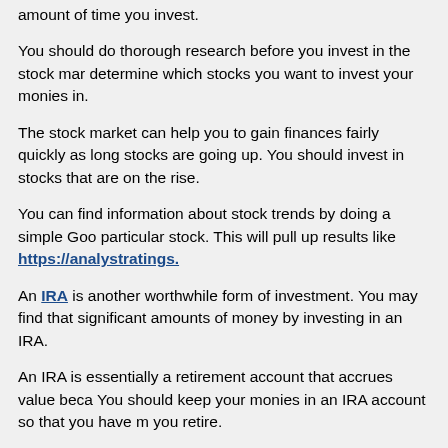amount of time you invest.
You should do thorough research before you invest in the stock market to determine which stocks you want to invest your monies in.
The stock market can help you to gain finances fairly quickly as long as the stocks are going up. You should invest in stocks that are on the rise.
You can find information about stock trends by doing a simple Google search of a particular stock. This will pull up results like https://analystratings.
An IRA is another worthwhile form of investment. You may find that you can save significant amounts of money by investing in an IRA.
An IRA is essentially a retirement account that accrues value because of interest. You should keep your monies in an IRA account so that you have money when you retire.
Interest-accruing savings accounts are based on much the same principle. These types of accounts gain interest as the monies sit in the account.
You literally gain profits by doing nothing besides letting your monies sit. If you let these monies sit for an extended period of time, you will be pleasantly surprised at how much money you can earn.